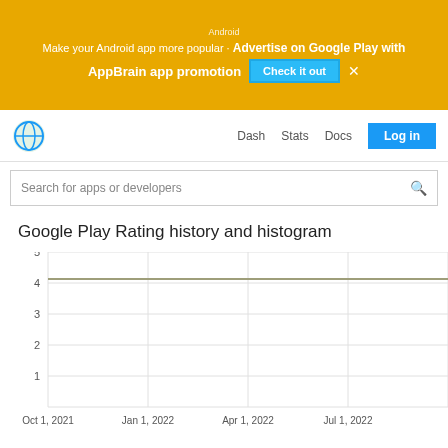[Figure (screenshot): AppBrain ad banner promoting Android app promotion on Google Play with 'Check it out' button]
[Figure (screenshot): AppBrain navigation bar with globe logo, Dash, Stats, Docs links, and Log in button]
[Figure (screenshot): Search bar with placeholder 'Search for apps or developers']
Google Play Rating history and histogram
[Figure (line-chart): Google Play Rating history and histogram]